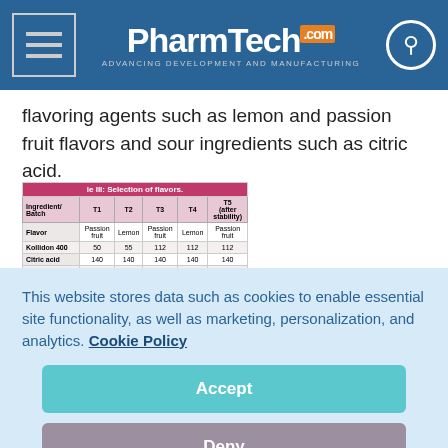PharmTech.com — ADVANCING DEVELOPMENT AND MANUFACTURING
flavoring agents such as lemon and passion fruit flavors and sour ingredients such as citric acid.
| Ingredient/
Batch | T1 | T2 | T3 | T4 | T5 (after stability) |
| --- | --- | --- | --- | --- | --- |
| Flavor | Passion fruit | Lemon | Passion fruit | Lemon | Passion fruit |
| Kollidon 400 | 50 | 55 | 112 | 112 | 112 |
| Citric acid | 140 | 140 | 140 | 140 | 140 |
| Disintegration | Partial | Yes | Yes | Yes | Yes |
| Disintegration time | 50 | 50 | 10 | 10 | 11 |
| Flowability | Good | Good | Very good | Very good | Good |
| Taste acceptability | •••• | •• | •••• | •• | •••• |
This website stores data such as cookies to enable essential site functionality, as well as marketing, personalization, and analytics. Cookie Policy
Accept
Deny